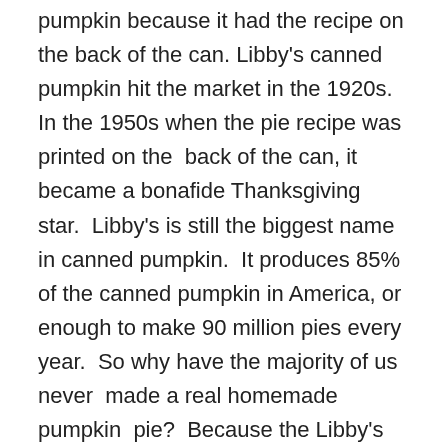pumpkin because it had the recipe on the back of the can. Libby's canned pumpkin hit the market in the 1920s. In the 1950s when the pie recipe was printed on the back of the can, it became a bonafide Thanksgiving star. Libby's is still the biggest name in canned pumpkin. It produces 85% of the canned pumpkin in America, or enough to make 90 million pies every year. So why have the majority of us never made a real homemade pumpkin pie? Because the Libby's can contains a strain of Dickinson squash, which is thicker and creamier than the flesh inside a pie pumpkin. We have been duped into making squash pie. Now before you decide to sue, keep reading. The FDA has okayed the use of the term pumpkin. So blame them. In 2019 the company added another pie recipe on the back of the can, made with sweetened condensed milk so the baker could choose between the two.